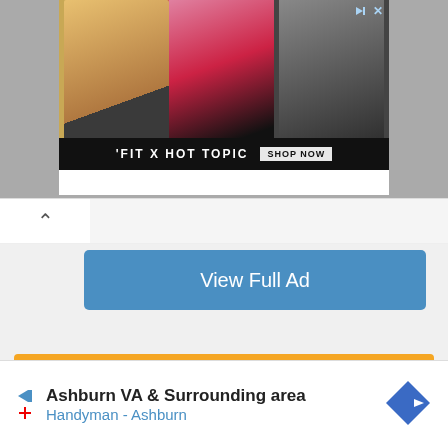[Figure (photo): Advertisement banner showing three young people with text 'FIT X HOT TOPIC' and 'SHOP NOW' button]
▶ ✕ (skip/close ad controls)
^ (collapse button)
View Full Ad
Jobseeker Login
Register
Employer Login
Register
[Figure (infographic): Bottom advertisement: Ashburn VA & Surrounding area, Handyman - Ashburn, with navigation arrow icon]